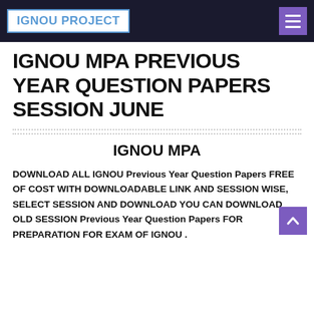IGNOU PROJECT
IGNOU MPA PREVIOUS YEAR QUESTION PAPERS SESSION JUNE
IGNOU MPA
DOWNLOAD ALL IGNOU Previous Year Question Papers FREE OF COST WITH DOWNLOADABLE LINK AND SESSION WISE,  SELECT SESSION AND DOWNLOAD YOU CAN DOWNLOAD OLD SESSION Previous Year Question Papers FOR PREPARATION FOR EXAM OF IGNOU .